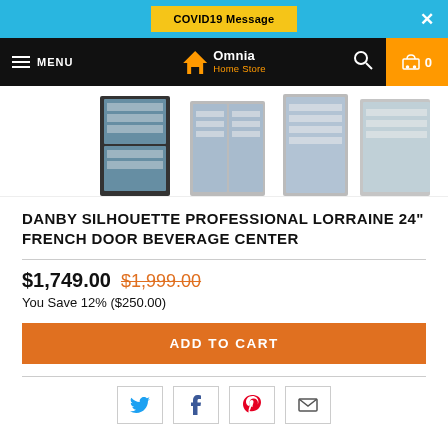COVID19 Message  ×
MENU  Omnia Home Store  0
[Figure (photo): Four beverage center refrigerators shown side by side as product images]
DANBY SILHOUETTE PROFESSIONAL LORRAINE 24" FRENCH DOOR BEVERAGE CENTER
$1,749.00  $1,999.00
You Save 12% ($250.00)
ADD TO CART
[Figure (infographic): Social sharing icons: Twitter, Facebook, Pinterest, Email]